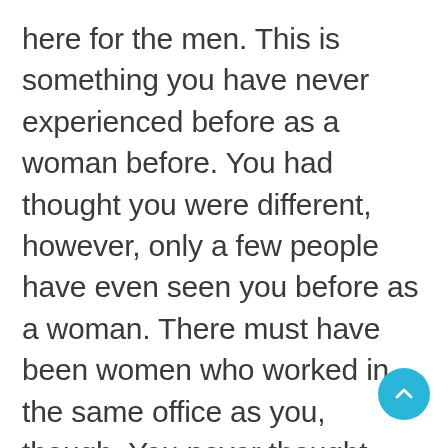here for the men. This is something you have never experienced before as a woman before. You had thought you were different, however, only a few people have even seen you before as a woman. There must have been women who worked in the same office as you, though. You never thought anything like this would happen. The next day, you and your fellow actresses are all gathered in the conference room. This is the first time you have all gathered up in one room.